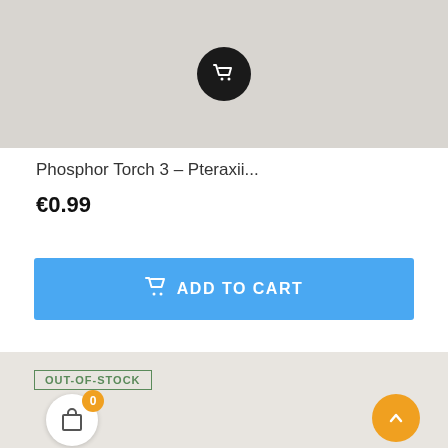[Figure (screenshot): Product listing card showing a grey product image with a dark circular cart icon overlay, a product title 'Phosphor Torch 3 - Pteraxii...', price €0.99, a blue 'ADD TO CART' button, and a second product card with an 'OUT-OF-STOCK' badge, shopping bag button with '0' badge, and an orange scroll-to-top button.]